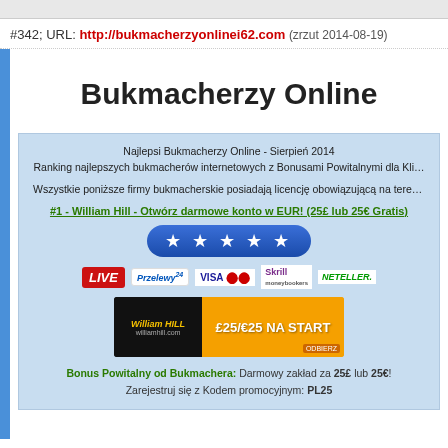#342; URL: http://bukmacherzyonlinei62.com (zrzut 2014-08-19)
Bukmacherzy Online
Najlepsi Bukmacherzy Online - Sierpień 2014
Ranking najlepszych bukmacherów internetowych z Bonusami Powitalnymi dla Klientów
Wszystkie poniższe firmy bukmacherskie posiadają licencję obowiązującą na terenie...
#1 - William Hill - Otwórz darmowe konto w EUR! (25£ lub 25€ Gratis)
[Figure (illustration): Five gold/white stars on a blue pill-shaped badge]
[Figure (illustration): Payment method logos: LIVE badge, Przelewy24, VISA Mastercard, Skrill moneybookers, NETELLER]
[Figure (illustration): William Hill banner: £25/€25 NA START promotional banner with players and ODBIERZ button]
Bonus Powitalny od Bukmachera: Darmowy zakład za 25£ lub 25€!
Zarejestruj się z Kodem promocyjnym: PL25